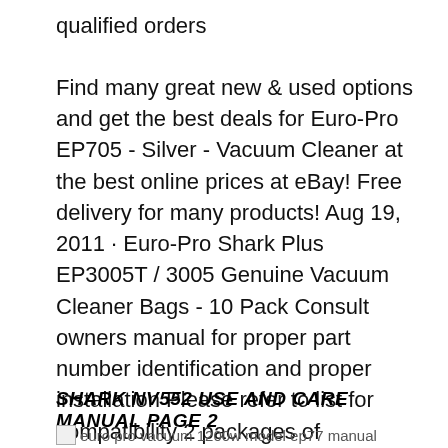qualified orders
Find many great new & used options and get the best deals for Euro-Pro EP705 - Silver - Vacuum Cleaner at the best online prices at eBay! Free delivery for many products! Aug 19, 2011 · Euro-Pro Shark Plus EP3005T / 3005 Genuine Vacuum Cleaner Bags - 10 Pack Consult owners manual for proper part number identification and proper installation Please refer to list for compatibility 2 packages of EUROPRO SHARK PAPER VACUUM BAG OEM 10 PACK 2 FILTERS CANISTER MODEL EP3005 EP055 EP3005T SHARK PLUS EP703C 5.0 out of 5 stars 2.
SHARK NV552 USE AND CARE MANUAL PAGE 2
euro pro vacuum 1200w model ep77 manual